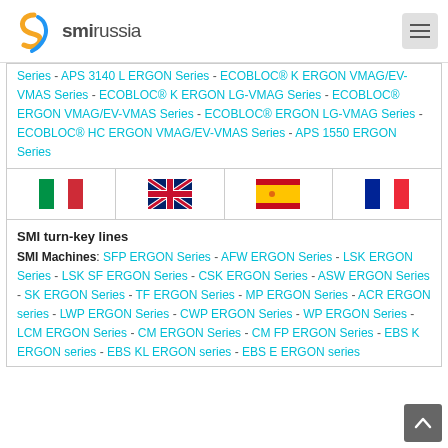smirussia
Series - APS 3140 L ERGON Series - ECOBLOC® K ERGON VMAG/EV-VMAS Series - ECOBLOC® K ERGON LG-VMAG Series - ECOBLOC® ERGON VMAG/EV-VMAS Series - ECOBLOC® ERGON LG-VMAG Series - ECOBLOC® HC ERGON VMAG/EV-VMAS Series - APS 1550 ERGON Series
[Figure (other): Row of four country flags: Italy, United Kingdom, Spain, France]
SMI turn-key lines
SMI Machines: SFP ERGON Series - AFW ERGON Series - LSK ERGON Series - LSK SF ERGON Series - CSK ERGON Series - ASW ERGON Series - SK ERGON Series - TF ERGON Series - MP ERGON Series - ACR ERGON series - LWP ERGON Series - CWP ERGON Series - WP ERGON Series - LCM ERGON Series - CM ERGON Series - CM FP ERGON Series - EBS K ERGON series - EBS KL ERGON series - EBS E ERGON series